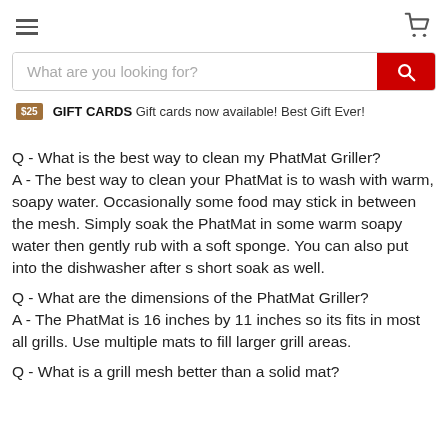[hamburger menu icon] [cart icon]
What are you looking for? [search button]
$25 GIFT CARDS Gift cards now available! Best Gift Ever!
[partial link text]
Q - What is the best way to clean my PhatMat Griller?
A - The best way to clean your PhatMat is to wash with warm, soapy water. Occasionally some food may stick in between the mesh. Simply soak the PhatMat in some warm soapy water then gently rub with a soft sponge. You can also put into the dishwasher after s short soak as well.
Q - What are the dimensions of the PhatMat Griller?
A - The PhatMat is 16 inches by 11 inches so its fits in most all grills. Use multiple mats to fill larger grill areas.
Q - What is a grill mesh better than a solid mat?